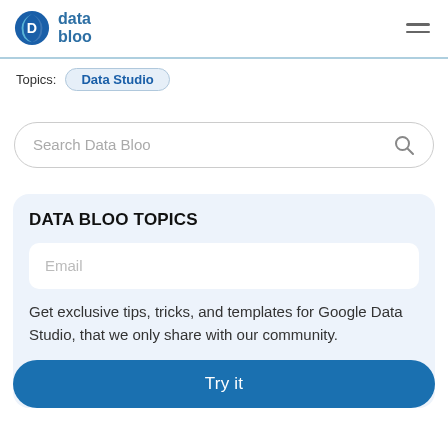data bloo
Topics: Data Studio
Search Data Bloo
DATA BLOO TOPICS
Email
Get exclusive tips, tricks, and templates for Google Data Studio, that we only share with our community.
Try it